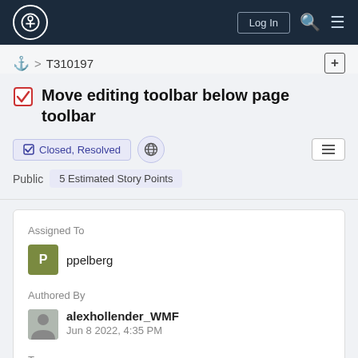Wikimedia Phabricator — Log In
⚓ > T310197
Move editing toolbar below page toolbar
✅ Closed, Resolved   🌐   ≡
Public   5 Estimated Story Points
Assigned To
ppelberg
Authored By
alexhollender_WMF
Jun 8 2022, 4:35 PM
Tags
🚌 Desktop Improvements (Incoming)
📍 Readers-Web-Backlog (Kanbanana-FY-2021-22) (Ready for Signoff)